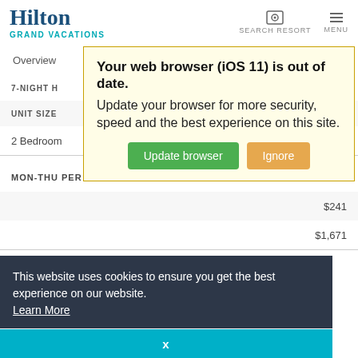Hilton GRAND VACATIONS — SEARCH RESORT — MENU
Overview  Things
7-NIGHT H... 234
UNIT SIZE
2 Bedroom
MON-THU PER NIGHT  $237
$241
$1,671
[Figure (screenshot): Browser update warning popup with yellow/cream background: 'Your web browser (iOS 11) is out of date. Update your browser for more security, speed and the best experience on this site.' with green 'Update browser' button and orange 'Ignore' button.]
This website uses cookies to ensure you get the best experience on our website. Learn More
x